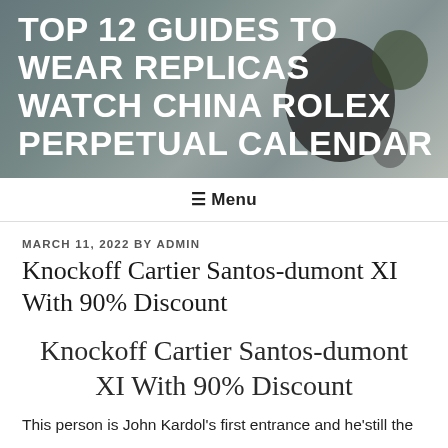TOP 12 GUIDES TO WEAR REPLICAS WATCH CHINA ROLEX PERPETUAL CALENDAR
≡ Menu
MARCH 11, 2022 BY ADMIN
Knockoff Cartier Santos-dumont XI With 90% Discount
Knockoff Cartier Santos-dumont XI With 90% Discount
This person is John Kardol's first entrance and he'still the